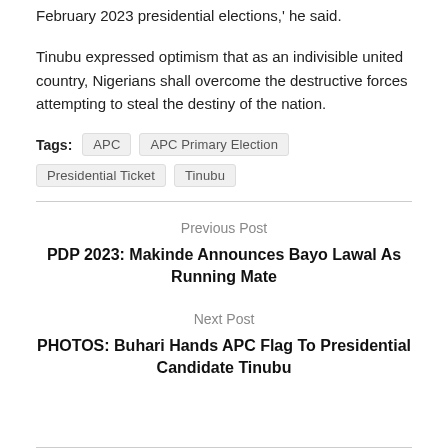February 2023 presidential elections,' he said.
Tinubu expressed optimism that as an indivisible united country, Nigerians shall overcome the destructive forces attempting to steal the destiny of the nation.
Tags: APC  APC Primary Election  Presidential Ticket  Tinubu
Previous Post
PDP 2023: Makinde Announces Bayo Lawal As Running Mate
Next Post
PHOTOS: Buhari Hands APC Flag To Presidential Candidate Tinubu